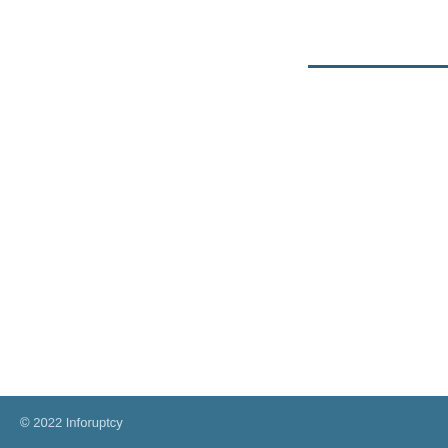| Title |
| --- |
| Burial Plots in Pennsylvania ... |
| Cadillac Car for Auction |
| Cadillac Car for Sale |
| Cadillac SUV for Sale |
| Car Hauler for Auction |
© 2022 Inforuptcy